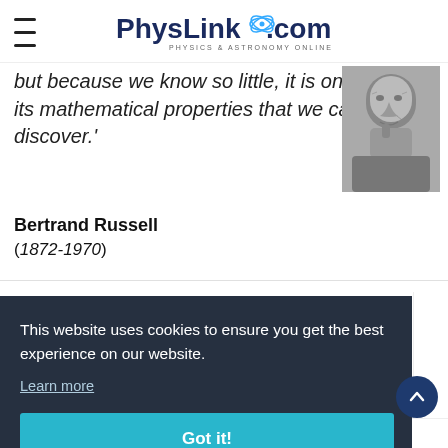PhysLink.com — Physics & Astronomy Online
but because we know so little, it is only its mathematical properties that we can discover.'
[Figure (photo): Black and white portrait photograph of an elderly Bertrand Russell]
Bertrand Russell
(1872-1970)
This website uses cookies to ensure you get the best experience on our website.
Learn more
Got it!
Corporate Gifts